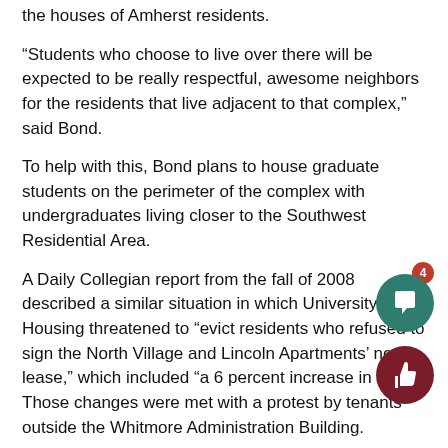the houses of Amherst residents.
“Students who choose to live over there will be expected to be really respectful, awesome neighbors for the residents that live adjacent to that complex,” said Bond.
To help with this, Bond plans to house graduate students on the perimeter of the complex with undergraduates living closer to the Southwest Residential Area.
A Daily Collegian report from the fall of 2008 described a similar situation in which University Housing threatened to “evict residents who refused to sign the North Village and Lincoln Apartments’ new lease,” which included “a 6 percent increase in rent.” Those changes were met with a protest by tenants outside the Whitmore Administration Building.
Mary Reines can be reached at mreines@student.umass.edu. Katie Landeck can be